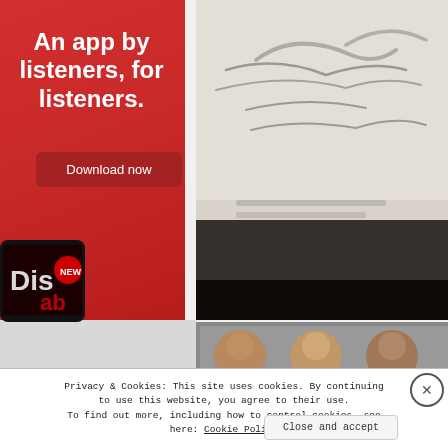[Figure (infographic): Red advertisement banner for a podcast/music app. White bold text reads 'An app by listeners, for listeners.' with a dark red 'Download now' button below. A smartphone showing the app is visible at the bottom of the banner.]
[Figure (photo): Close-up blurred photograph of what appears to be a handwritten document or book with cursive writing, partially out of focus.]
[Figure (photo): Three circular thumbnail photos of people's faces in a horizontal strip.]
Privacy & Cookies: This site uses cookies. By continuing to use this website, you agree to their use. To find out more, including how to control cookies, see here: Cookie Policy
Close and accept